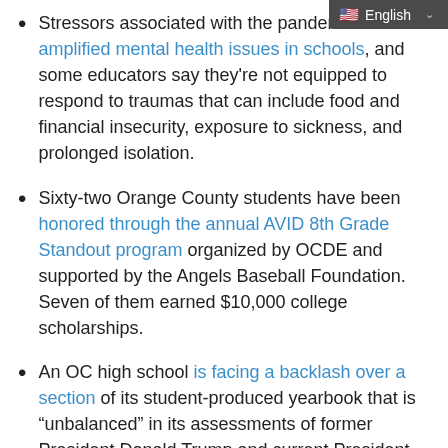Stressors associated with the pandemic have amplified mental health issues in schools, and some educators say they're not equipped to respond to traumas that can include food and financial insecurity, exposure to sickness, and prolonged isolation.
Sixty-two Orange County students have been honored through the annual AVID 8th Grade Standout program organized by OCDE and supported by the Angels Baseball Foundation. Seven of them earned $10,000 college scholarships.
An OC high school is facing a backlash over a section of its student-produced yearbook that is “unbalanced” in its assessments of former President Donald Trump and current President Joe Biden.